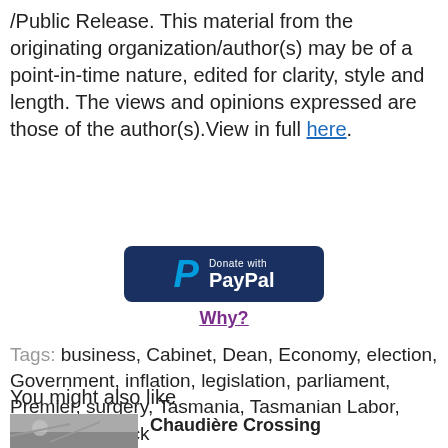/Public Release. This material from the originating organization/author(s) may be of a point-in-time nature, edited for clarity, style and length. The views and opinions expressed are those of the author(s).View in full here.
[Figure (other): Donate with PayPal button — dark navy rounded rectangle with PayPal logo and text]
Why?
Tags: business, Cabinet, Dean, Economy, election, Government, inflation, legislation, parliament, Premier, surgery, Tasmania, Tasmanian Labor, Tassie, the Rock
You might also like
[Figure (photo): Thumbnail photo for related article]
Chaudière Crossing